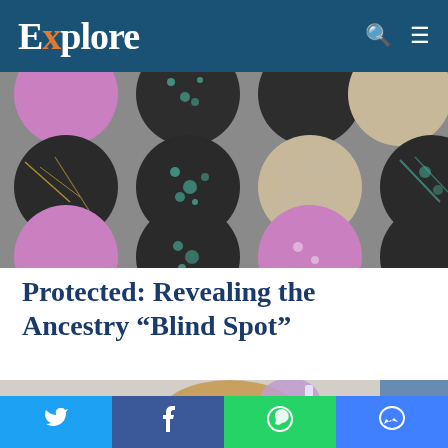Explore
[Figure (photo): Grid of circular samples on a grey background showing various tissue/mineral specimens in colors including pink, black, green, beige, and black with gold veins.]
Protected: Revealing the Ancestry “Blind Spot”
[Figure (photo): A person wearing purple latex gloves holding up a small vial or sample in a laboratory setting.]
Twitter | Facebook | WhatsApp | Messenger share buttons